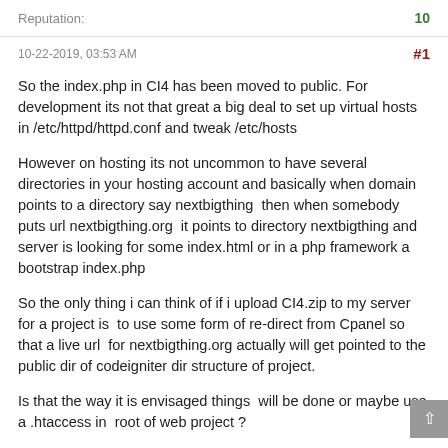Reputation: 10
10-22-2019, 03:53 AM
#1
So the index.php in CI4 has been moved to public. For development its not that great a big deal to set up virtual hosts in /etc/httpd/httpd.conf and tweak /etc/hosts
However on hosting its not uncommon to have several directories in your hosting account and basically when domain points to a directory say nextbigthing  then when somebody puts url nextbigthing.org  it points to directory nextbigthing and server is looking for some index.html or in a php framework a bootstrap index.php
So the only thing i can think of if i upload CI4.zip to my server for a project is  to use some form of re-direct from Cpanel so that a live url  for nextbigthing.org actually will get pointed to the public dir of codeigniter dir structure of project.
Is that the way it is envisaged things  will be done or maybe use a .htaccess in  root of web project ?